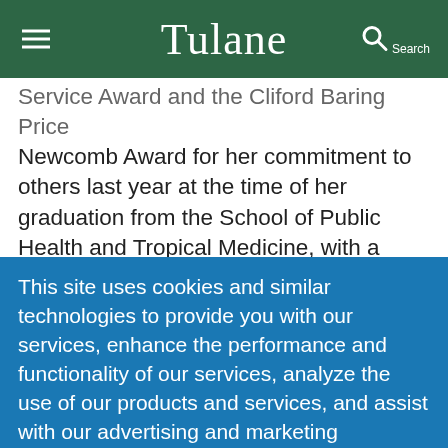Tulane
Service Award and the Cliford Baring Price Newcomb Award for her commitment to others last year at the time of her graduation from the School of Public Health and Tropical Medicine, with a Bachelor of Science in Public Health. This year she will earn a master's degree from the School of Public Health as well.
This site uses cookies and similar technologies to provide you with our services, enhance the performance and functionality of our services, analyze the use of our products and services, and assist with our advertising and marketing efforts.  Privacy Notice   GDPR Privacy Policy
ACCEPT   Decline